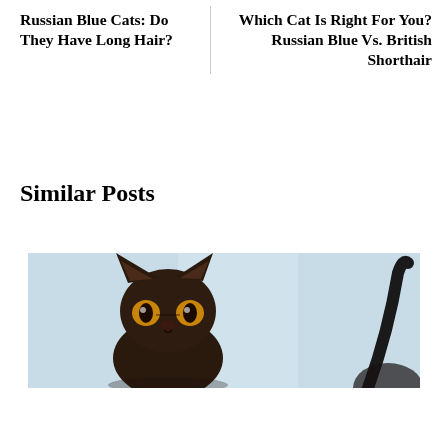Russian Blue Cats: Do They Have Long Hair?
Which Cat Is Right For You? Russian Blue Vs. British Shorthair
Similar Posts
[Figure (photo): Photo of a dark-colored Sphynx or Devon Rex cat with large ears and yellow eyes looking at the camera, with another cat partially visible on the right side. Light blue background.]